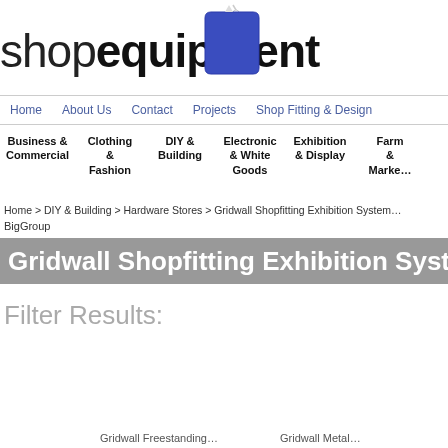[Figure (logo): Shop Equipment logo with price tag icon — 'shop' in light weight and 'equipment' in bold black, blue price tag graphic above]
Home   About Us   Contact   Projects   Shop Fitting & Design
Business & Commercial   Clothing & Fashion   DIY & Building   Electronic & White Goods   Exhibition & Display   Farm & Marke…
Home > DIY & Building > Hardware Stores > Gridwall Shopfitting Exhibition System…
BigGroup
Gridwall Shopfitting Exhibition Syste…
Filter Results:
Gridwall Freestanding
Gridwall Metal…